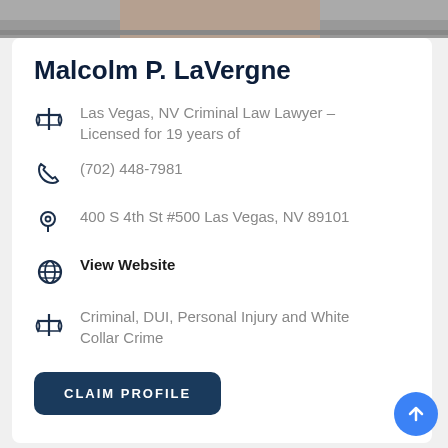[Figure (photo): Partial photo of a person at the top of the page]
Malcolm P. LaVergne
Las Vegas, NV Criminal Law Lawyer – Licensed for 19 years of
(702) 448-7981
400 S 4th St #500 Las Vegas, NV 89101
View Website
Criminal, DUI, Personal Injury and White Collar Crime
CLAIM PROFILE